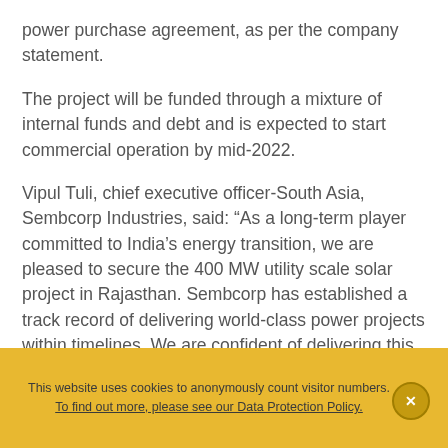power purchase agreement, as per the company statement.
The project will be funded through a mixture of internal funds and debt and is expected to start commercial operation by mid-2022.
Vipul Tuli, chief executive officer-South Asia, Sembcorp Industries, said: “As a long-term player committed to India’s energy transition, we are pleased to secure the 400 MW utility scale solar project in Rajasthan. Sembcorp has established a track record of delivering world-class power projects within timelines. We are confident of delivering this project, thanks to strong support from central and state government agencies
This website uses cookies to anonymously count visitor numbers. To find out more, please see our Data Protection Policy.